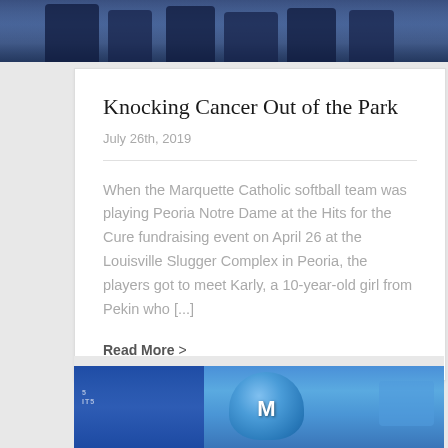[Figure (photo): Top portion of a photo showing people in blue sports uniforms/jerseys outdoors]
Knocking Cancer Out of the Park
July 26th, 2019
When the Marquette Catholic softball team was playing Peoria Notre Dame at the Hits for the Cure fundraising event on April 26 at the Louisville Slugger Complex in Peoria, the players got to meet Karly, a 10-year-old girl from Pekin who [...]
Read More >
[Figure (photo): Bottom portion showing a softball player in blue Marquette uniform holding a blue helmet with M logo]